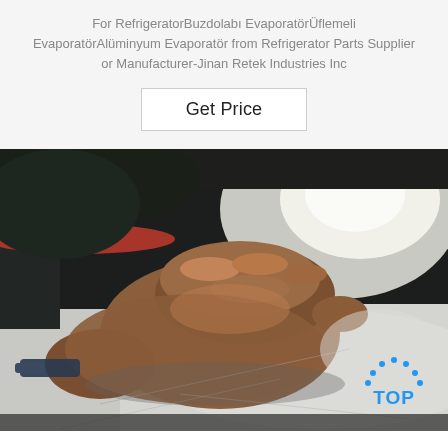For RefrigeratorBuzdolabı EvaporatörÜflemeli EvaporatörAlüminyum Evaporatör from Refrigerator Parts Supplier or Manufacturer-Jinan Retek Industries Inc
Get Price
[Figure (photo): A person's hand pressing down on a shiny aluminum evaporator sheet/panel in an industrial workshop setting. Bright reflective light visible on the metal surface. A blue 'TOP' watermark logo is in the bottom-right corner of the image.]